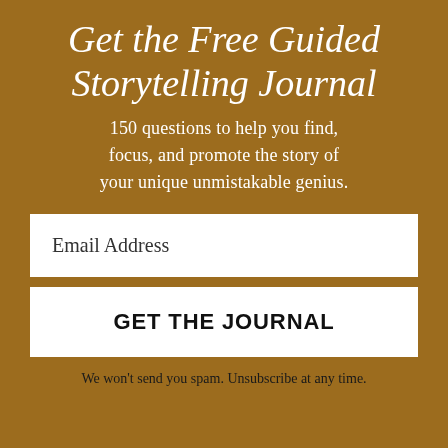Get the Free Guided Storytelling Journal
150 questions to help you find, focus, and promote the story of your unique unmistakable genius.
Email Address
GET THE JOURNAL
We won't send you spam. Unsubscribe at any time.